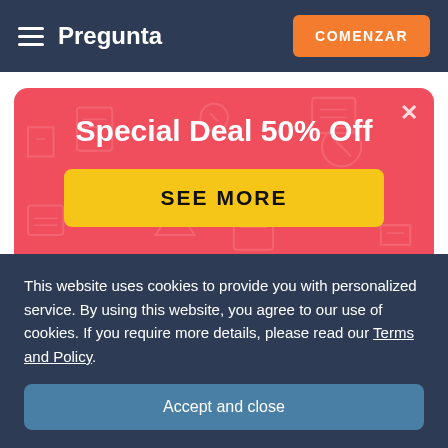Pregunta  COMENZAR
[Figure (infographic): Red promotional banner with text 'Special Deal 50% Off' and a yellow 'SEE MORE' button, with decorative icons in the background and a close button (x) in the top right.]
Todas las preguntas
This website uses cookies to provide you with personalized service. By using this website, you agree to our use of cookies. If you require more details, please read our Terms and Policy.
Accept and close